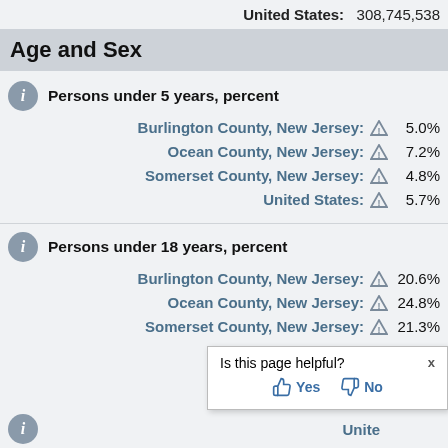United States: 308,745,538
Age and Sex
Persons under 5 years, percent
| Location | Value |
| --- | --- |
| Burlington County, New Jersey: | 5.0% |
| Ocean County, New Jersey: | 7.2% |
| Somerset County, New Jersey: | 4.8% |
| United States: | 5.7% |
Persons under 18 years, percent
| Location | Value |
| --- | --- |
| Burlington County, New Jersey: | 20.6% |
| Ocean County, New Jersey: | 24.8% |
| Somerset County, New Jersey: | 21.3% |
| United States: | (clipped) |
Is this page helpful? Yes No